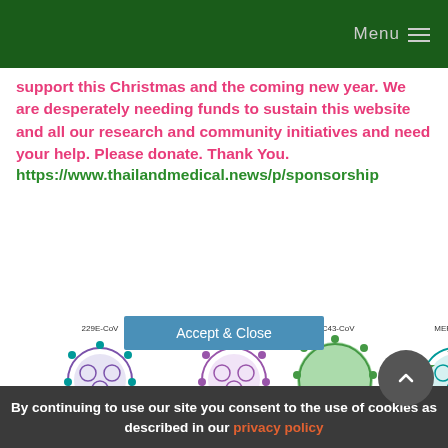Menu
support this Christmas and the coming new year. We are desperately needing funds to sustain this website and all our research and community initiatives and need your help. Please donate. Thank You. https://www.thailandmedical.news/p/sponsorship
[Figure (illustration): Diagram showing five coronavirus types (229E-CoV, SARS-CoV, OC43-CoV, MERS-CoV, SARS-CoV-2) with labeled receptor icons and cell membrane below]
By continuing to use our site you consent to the use of cookies as described in our privacy policy